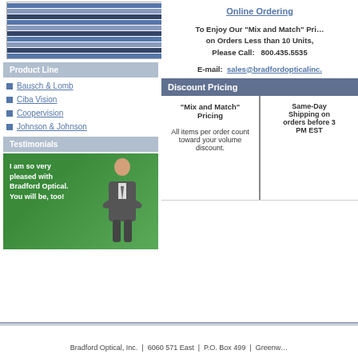[Figure (photo): Shelves stocked with contact lens boxes in blue, white, and brown packaging]
Product Line
Bausch & Lomb
Ciba Vision
Coopervision
Johnson & Johnson
Testimonials
[Figure (photo): Man in suit with arms crossed on green background with text: I am so very pleased with Bradford Optical. You will be, too!]
Online Ordering
To Enjoy Our "Mix and Match" Pricing on Orders Less than 10 Units, Please Call: 800.435.5535
E-mail: sales@bradfordopticalinc.
Discount Pricing
"Mix and Match" Pricing

All items per order count toward your volume discount.
Same-Day Shipping on orders before 3 PM EST
Bradford Optical, Inc. | 6060 571 East | P.O. Box 499 | Greenw...